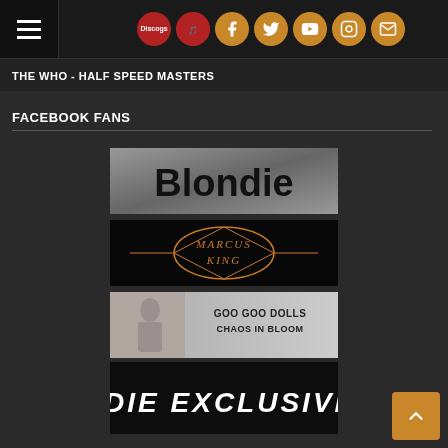Navigation bar with hamburger menu and social icons (Discogs, Facebook, Twitter, YouTube, Instagram, Email)
THE WHO - HALF SPEED MASTERS
FACEBOOK FANS
[Figure (logo): Blondie band logo banner - black text on grey background]
[Figure (logo): Marcus King band logo banner - stylized gold/orange text on black background]
[Figure (logo): Goo Goo Dolls - Chaos in Bloom album banner - text on grey/cream background with figure on left]
[Figure (logo): Indie Exclusives banner - white italic bold text on black background]